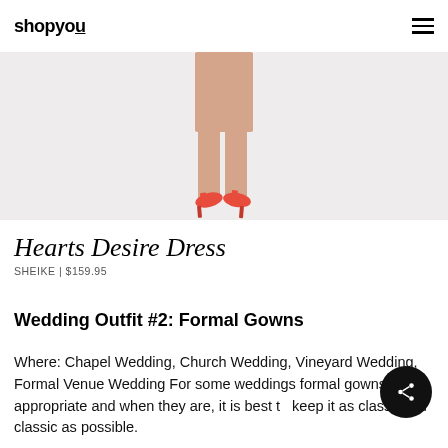shopyou
[Figure (photo): Product photo showing legs wearing orange/coral high heel shoes against a light grey-white background]
Hearts Desire Dress
SHEIKE | $159.95
Wedding Outfit #2: Formal Gowns
Where: Chapel Wedding, Church Wedding, Vineyard Wedding, Formal Venue Wedding For some weddings formal gowns are appropriate and when they are, it is best to keep it as classy and classic as possible.